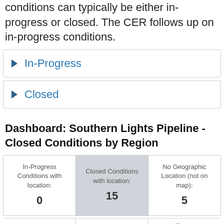conditions can typically be either in-progress or closed. The CER follows up on in-progress conditions.
In-Progress
Closed
Dashboard: Southern Lights Pipeline - Closed Conditions by Region
| In-Progress Conditions with location: | Closed Conditions with location: | No Geographic Location (not on map): |
| --- | --- | --- |
| 0 | 15 | 5 |